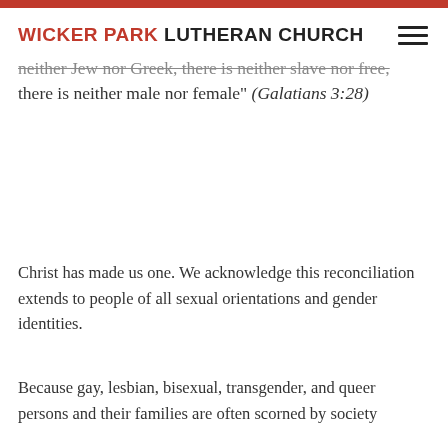WICKER PARK LUTHERAN CHURCH
neither Jew nor Greek, there is neither slave nor free, there is neither male nor female" (Galatians 3:28)
Christ has made us one. We acknowledge this reconciliation extends to people of all sexual orientations and gender identities.
Because gay, lesbian, bisexual, transgender, and queer persons and their families are often scorned by society